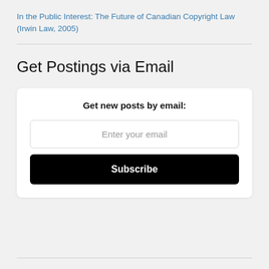In the Public Interest: The Future of Canadian Copyright Law (Irwin Law, 2005)
Get Postings via Email
Get new posts by email:
Enter your email
Subscribe